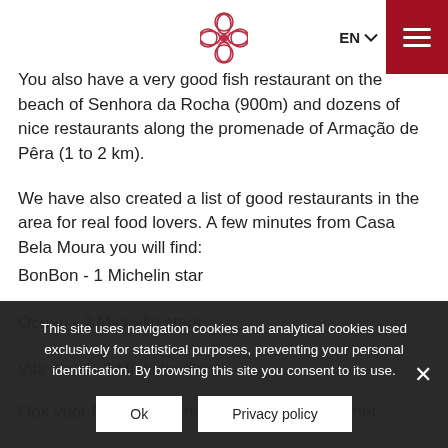EN [menu icon]
You also have a very good fish restaurant on the beach of Senhora da Rocha (900m) and dozens of nice restaurants along the promenade of Armação de Pêra (1 to 2 km).
We have also created a list of good restaurants in the area for real food lovers. A few minutes from Casa Bela Moura you will find:
BonBon - 1 Michelin star
Ocean - 2 Michelin stars
Vila Joya - 2 Michelin stars
Ook voor fijnproevers hebben we een lijstie met
This site uses navigation cookies and analytical cookies used exclusively for statistical purposes, preventing your personal identification. By browsing this site you consent to its use.